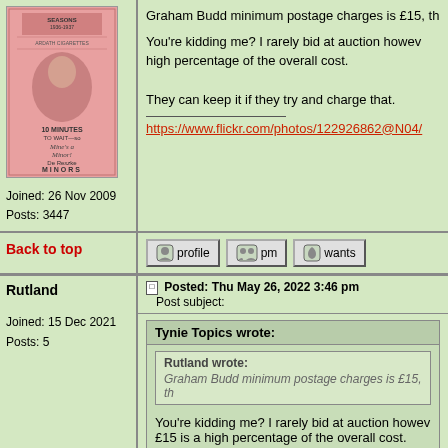[Figure (illustration): Pink vintage poster image showing '10 Minutes to Wait - so Mine's a Minor!' with a woman's portrait and De Reske Minors branding]
Joined: 26 Nov 2009
Posts: 3447
Graham Budd minimum postage charges is £15, th...
You're kidding me? I rarely bid at auction however high percentage of the overall cost.

They can keep it if they try and charge that.
https://www.flickr.com/photos/122926862@N04/
Back to top
profile  pm  wants
Rutland
Posted: Thu May 26, 2022 3:46 pm
Post subject:
Tynie Topics wrote:
Rutland wrote:
Graham Budd minimum postage charges is £15, th...
You're kidding me? I rarely bid at auction however £15 is a high percentage of the overall cost.
Joined: 15 Dec 2021
Posts: 5